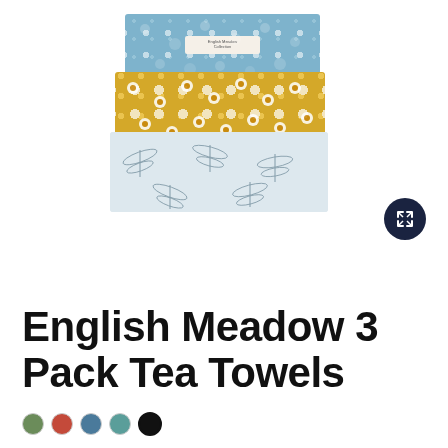[Figure (photo): A stack of three folded tea towels: top one is light blue with white daisy flowers and a small label tag, middle one is golden yellow with white daisy flowers, bottom one is light grey/white with dragonfly print. A dark navy circular expand/zoom button appears in the lower right of the image area.]
English Meadow 3 Pack Tea Towels